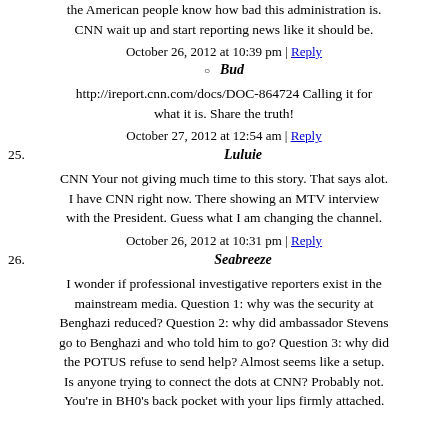the American people know how bad this administration is. CNN wait up and start reporting news like it should be.
October 26, 2012 at 10:39 pm | Reply
Bud
http://ireport.cnn.com/docs/DOC-864724 Calling it for what it is. Share the truth!
October 27, 2012 at 12:54 am | Reply
25. Luluie
CNN Your not giving much time to this story. That says alot. I have CNN right now. There showing an MTV interview with the President. Guess what I am changing the channel.
October 26, 2012 at 10:31 pm | Reply
26. Seabreeze
I wonder if professional investigative reporters exist in the mainstream media. Question 1: why was the security at Benghazi reduced? Question 2: why did ambassador Stevens go to Benghazi and who told him to go? Question 3: why did the POTUS refuse to send help? Almost seems like a setup. Is anyone trying to connect the dots at CNN? Probably not. You're in BH0's back pocket with your lips firmly attached.